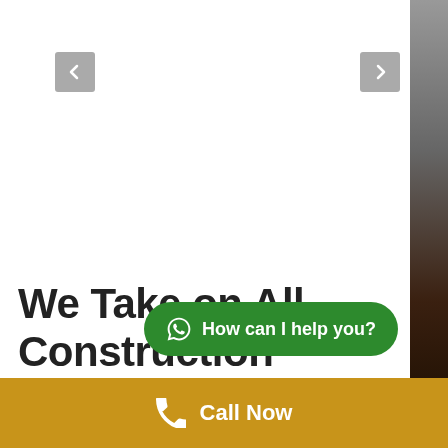[Figure (screenshot): Navigation left arrow button (gray rounded square with < chevron)]
[Figure (screenshot): Navigation right arrow button (gray rounded square with > chevron)]
[Figure (photo): Construction/building photograph strip on right side of page]
We Take on All Construction Needs
Our customers appreciate our high standards of workmanship and our meticulous attention to detail. As a custom renovation work on retail buildings, the hospitality industry,
[Figure (screenshot): WhatsApp chat button with text 'How can I help you?']
Call Now